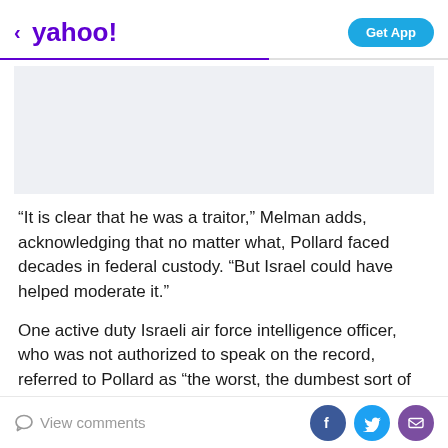< yahoo! | Get App
[Figure (other): Advertisement placeholder area – light gray rectangle]
“It is clear that he was a traitor,” Melman adds, acknowledging that no matter what, Pollard faced decades in federal custody. “But Israel could have helped moderate it.”
One active duty Israeli air force intelligence officer, who was not authorized to speak on the record, referred to Pollard as “the worst, the dumbest sort of traitor,” adding
View comments | Facebook | Twitter | Email